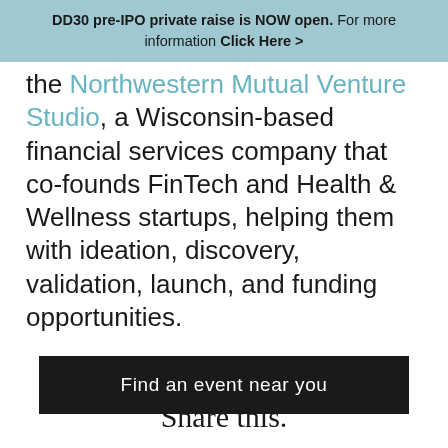DD30 pre-IPO private raise is NOW open. For more information Click Here >
the Northwestern Mutual Venture Studio, a Wisconsin-based financial services company that co-founds FinTech and Health & Wellness startups, helping them with ideation, discovery, validation, launch, and funding opportunities.
Find an event near you
Share this.